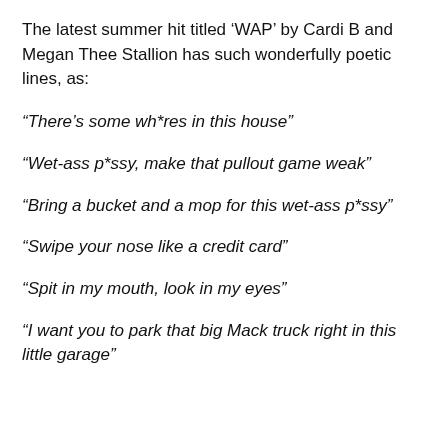The latest summer hit titled 'WAP' by Cardi B and Megan Thee Stallion has such wonderfully poetic lines, as:
“There’s some wh*res in this house”
“Wet-ass p*ssy, make that pullout game weak”
“Bring a bucket and a mop for this wet-ass p*ssy”
“Swipe your nose like a credit card”
“Spit in my mouth, look in my eyes”
“I want you to park that big Mack truck right in this little garage”